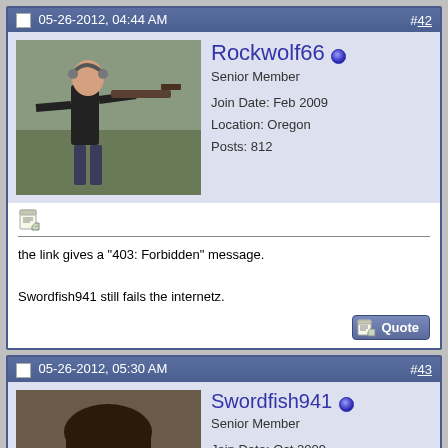05-26-2012, 04:44 AM  #42
Rockwolf66
Senior Member
Join Date: Feb 2009
Location: Oregon
Posts: 812
[Figure (photo): Avatar photo of user Rockwolf66 shooting a rifle outdoors]
the link gives a "403: Forbidden" message.

Swordfish941 still fails the internetz.
05-26-2012, 05:30 AM  #43
Swordfish941
Senior Member
Join Date: Oct 2009
Location: Fishers, Indiana
Posts: 3,228
[Figure (photo): Avatar photo of user Swordfish941 with text 'PROBLEM, OFFICER?' at bottom]
Quote:
Originally Posted by Rockwolf66
the link gives a "403: Forbidden" message.